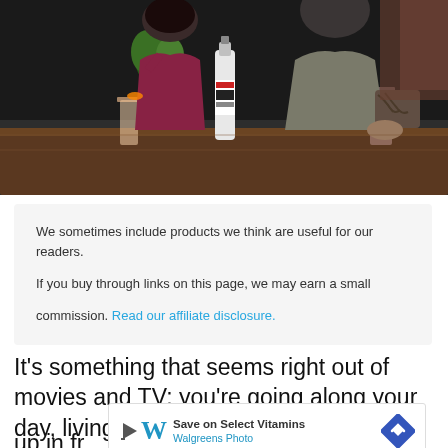[Figure (photo): Two people sitting at a bar or restaurant table. A woman in a burgundy/red dress and a tattooed man in a grey cardigan. There is a liquor bottle on the table, glasses with drinks, and a small potted plant.]
We sometimes include products we think are useful for our readers. If you buy through links on this page, we may earn a small commission. Read our affiliate disclosure.
It's something that seems right out of movies and TV: you're going along your day, living your life, when a familiar face that you once dating or shows up in fr...
[Figure (infographic): Walgreens advertisement banner: 'Save on Select Vitamins - Walgreens Photo' with play button, Walgreens cursive W logo, and blue diamond arrow icon.]